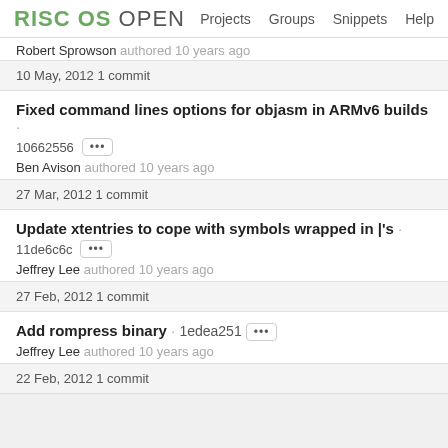RISC OS OPEN  Projects  Groups  Snippets  Help
Robert Sprowson authored 10 years ago
10 May, 2012 1 commit
Fixed command lines options for objasm in ARMv6 builds · 10662556 ...
Ben Avison authored 10 years ago
27 Mar, 2012 1 commit
Update xtentries to cope with symbols wrapped in |'s · 11de6c6c ...
Jeffrey Lee authored 10 years ago
27 Feb, 2012 1 commit
Add rompress binary · 1edea251 ...
Jeffrey Lee authored 10 years ago
22 Feb, 2012 1 commit